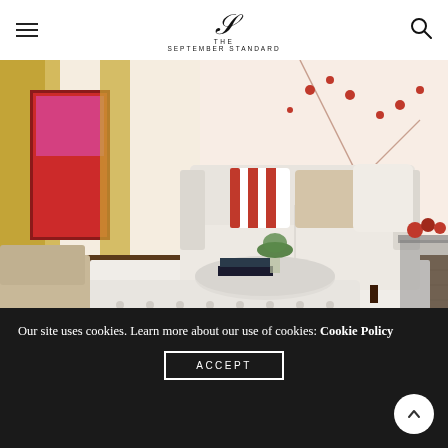THE SEPTEMBER STANDARD
[Figure (photo): Interior living room photo featuring a white tufted ottoman, white sofa with red striped and beige pillows, circular coffee table with green hydrangeas and books, gold curtains, red window frame, floral wallpaper, and white area rug on dark wood floor.]
Our site uses cookies. Learn more about our use of cookies: Cookie Policy
ACCEPT